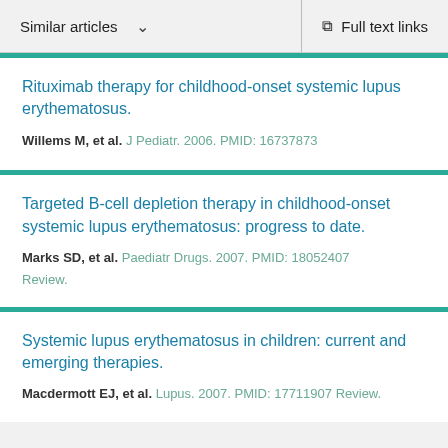Similar articles   ∨      Full text links
Rituximab therapy for childhood-onset systemic lupus erythematosus.
Willems M, et al. J Pediatr. 2006. PMID: 16737873
Targeted B-cell depletion therapy in childhood-onset systemic lupus erythematosus: progress to date.
Marks SD, et al. Paediatr Drugs. 2007. PMID: 18052407
Review.
Systemic lupus erythematosus in children: current and emerging therapies.
Macdermott EJ, et al. Lupus. 2007. PMID: 17711907 Review.